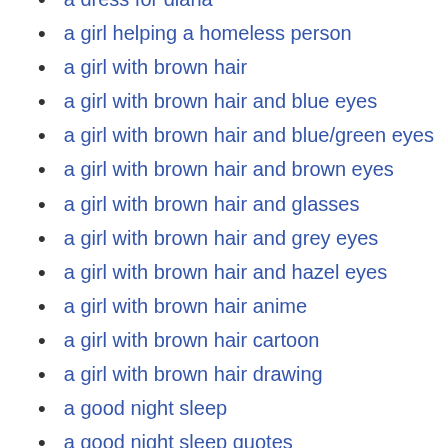a dress for diana
a girl helping a homeless person
a girl with brown hair
a girl with brown hair and blue eyes
a girl with brown hair and blue/green eyes
a girl with brown hair and brown eyes
a girl with brown hair and glasses
a girl with brown hair and grey eyes
a girl with brown hair and hazel eyes
a girl with brown hair anime
a girl with brown hair cartoon
a girl with brown hair drawing
a good night sleep
a good night sleep quotes
a good night's sleep meme